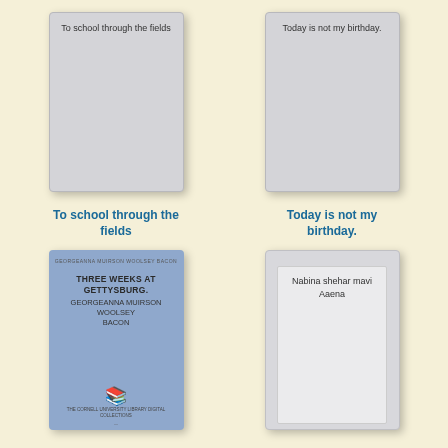[Figure (illustration): Gray book cover with text 'To school through the fields' at top]
[Figure (illustration): Gray book cover with text 'Today is not my birthday.' at top]
To school through the fields
Today is not my birthday.
[Figure (illustration): Blue book cover titled 'THREE WEEKS AT GETTYSBURG. GEORGEANNA MUIRSON WOOLSEY BACON' with Cornell University Library Digital Collections mark]
[Figure (illustration): Gray book cover with inner white panel showing text 'Nabina shehar mavi Aaena']